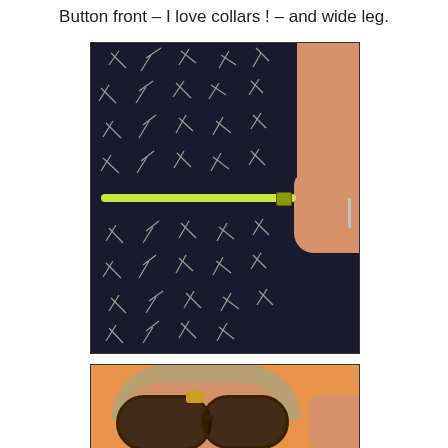Button front – I love collars ! – and wide leg.
[Figure (photo): Close-up photo of a person wearing a black and white patterned dress with a neon yellow-green belt cinched at the waist. Person's hand is visible on the right holding the belt. Orange background visible on right side.]
[Figure (photo): Close-up photo of a person with blonde/light brown hair wearing large dark brown oversized sunglasses with a gold ornament on the bridge. Orange background. Person's hand is visible on the right side.]